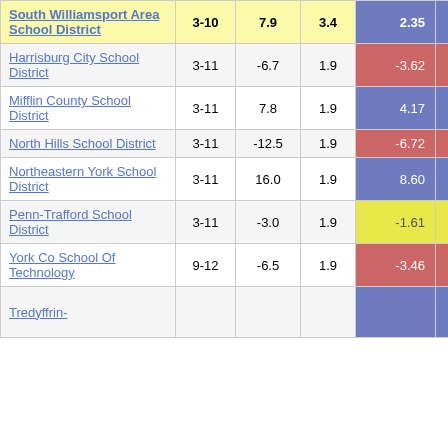| District | Grades | Col3 | Col4 | Col5 |  |
| --- | --- | --- | --- | --- | --- |
| South Williamsport Area School District | 3-10 | 7.9 | 3.4 | 2.35 |  |
| Harrisburg City School District | 3-11 | -6.7 | 1.9 | -3.62 |  |
| Mifflin County School District | 3-11 | 7.8 | 1.9 | 4.17 |  |
| North Hills School District | 3-11 | -12.5 | 1.9 | -6.72 |  |
| Northeastern York School District | 3-11 | 16.0 | 1.9 | 8.60 |  |
| Penn-Trafford School District | 3-11 | -3.0 | 1.9 | -1.61 |  |
| York Co School Of Technology | 9-12 | -6.5 | 1.9 | -3.46 |  |
| Tredyffrin- |  |  |  |  |  |